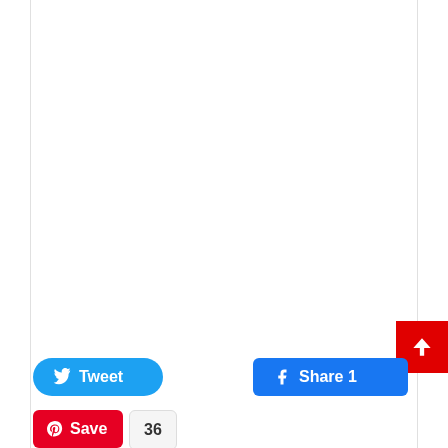[Figure (screenshot): Social media sharing buttons: Tweet (Twitter), Facebook Share 1, Pinterest Save with count 36, and a red scroll-to-top arrow button in bottom right corner.]